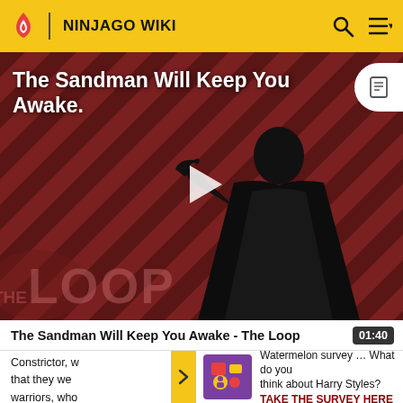NINJAGO WIKI
[Figure (screenshot): Video thumbnail showing a dark-cloaked figure against a red diagonal striped background. 'THE LOOP' watermark at bottom left. Play button in center.]
The Sandman Will Keep You Awake - The Loop
01:40
Constrictor, w... that they we... warriors, who... father gives th...
[Figure (infographic): Watermelon survey icon in purple box]
Watermelon survey … What do you think about Harry Styles?
TAKE THE SURVEY HERE